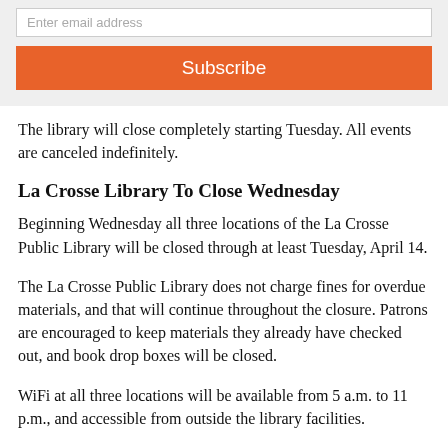[Figure (screenshot): Email subscription widget with input field and orange Subscribe button on grey background]
The library will close completely starting Tuesday. All events are canceled indefinitely.
La Crosse Library To Close Wednesday
Beginning Wednesday all three locations of the La Crosse Public Library will be closed through at least Tuesday, April 14.
The La Crosse Public Library does not charge fines for overdue materials, and that will continue throughout the closure. Patrons are encouraged to keep materials they already have checked out, and book drop boxes will be closed.
WiFi at all three locations will be available from 5 a.m. to 11 p.m., and accessible from outside the library facilities.